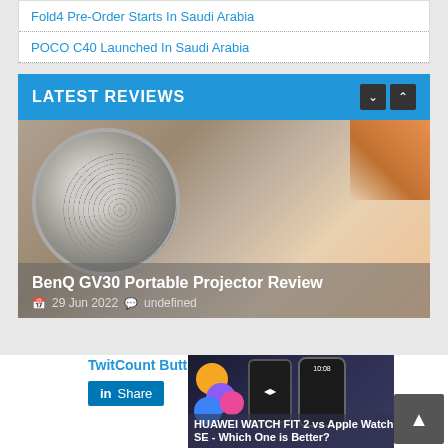Fold4 Pre-Order Starts In Saudi Arabia
POCO C40 Launched In Saudi Arabia
LATEST REVIEWS
[Figure (photo): BenQ GV30 Portable Projector with circular speaker grille, white and orange color scheme]
BenQ GV30 Portable Projector Review
29 Jun 2022  undefined
TwitCount Button
Share
[Figure (photo): HUAWEI WATCH FIT 2 vs Apple Watch SE smartwatches comparison image]
HUAWEI WATCH FIT 2 vs Apple Watch SE - Which One is Better?